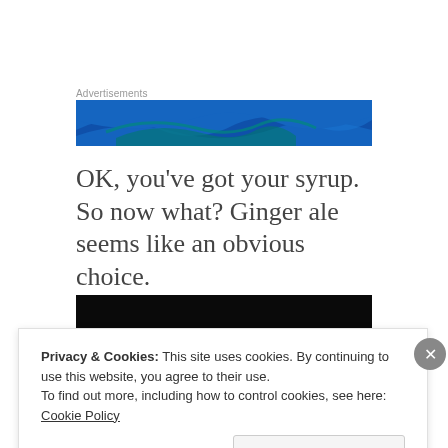Advertisements
[Figure (illustration): Blue wave advertisement banner with teal and dark blue wave shapes on a blue background]
OK, you've got your syrup. So now what? Ginger ale seems like an obvious choice.
[Figure (photo): Dark/black image, partially visible, appears to be a photo related to the article]
Privacy & Cookies: This site uses cookies. By continuing to use this website, you agree to their use.
To find out more, including how to control cookies, see here: Cookie Policy
Close and accept